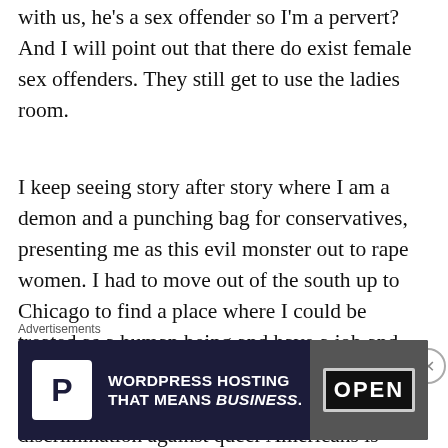with us, he's a sex offender so I'm a pervert? And I will point out that there do exist female sex offenders. They still get to use the ladies room.
I keep seeing story after story where I am a demon and a punching bag for conservatives, presenting me as this evil monster out to rape women. I had to move out of the south up to Chicago to find a place where I could be treated as a human being and have a job and such. The south is my home but my home is not my home. My hope is that some day discrimination against queer Americans is considered to be as socially unacceptable and repugnant as overt racism.
Advertisements
[Figure (screenshot): WordPress Hosting advertisement banner with P logo and OPEN sign image. Text: WORDPRESS HOSTING THAT MEANS BUSINESS.]